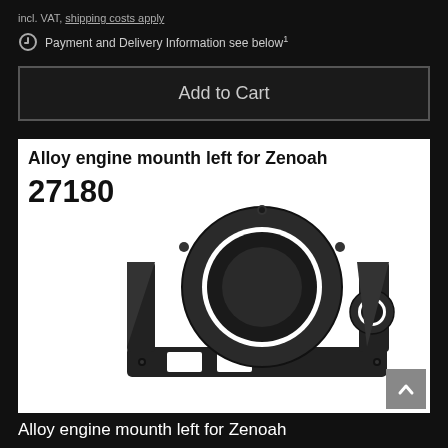incl. VAT, shipping costs apply
Payment and Delivery Information see below¹
Add to Cart
[Figure (photo): Product image of an alloy engine mount (left) for Zenoah, part number 27180. Black anodized aluminum bracket with circular opening and mounting flanges, shown on white background. Text overlaid: 'Alloy engine mounth left for Zenoah' and '27180'.]
Alloy engine mounth left for Zenoah